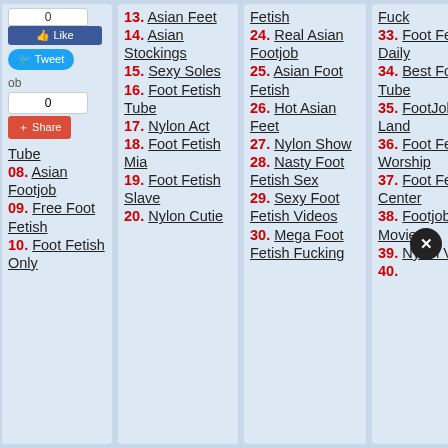Tube
08. Asian Footjob
09. Free Foot Fetish
10. Foot Fetish Only
13. Asian Feet
14. Asian Stockings
15. Sexy Soles
16. Foot Fetish Tube
17. Nylon Act
18. Foot Fetish Mia
19. Foot Fetish Slave
20. Nylon Cutie
Fetish
24. Real Asian Footjob
25. Asian Foot Fetish
26. Hot Asian Feet
27. Nylon Show
28. Nasty Foot Fetish Sex
29. Sexy Foot Fetish Videos
30. Mega Foot Fetish Fucking
Fuck
33. Foot Fetish Daily
34. Best Footjob Tube
35. FootJob Land
36. Foot Fetish Worship
37. Foot Fetish Center
38. Footjob Movies
39. Nylon View
40.
48.
49.
50.